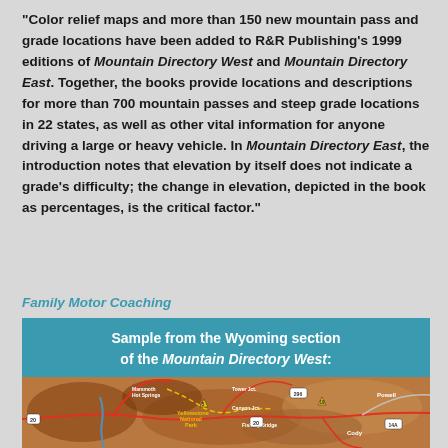"Color relief maps and more than 150 new mountain pass and grade locations have been added to R&R Publishing's 1999 editions of Mountain Directory West and Mountain Directory East. Together, the books provide locations and descriptions for more than 700 mountain passes and steep grade locations in 22 states, as well as other vital information for anyone driving a large or heavy vehicle. In Mountain Directory East, the introduction notes that elevation by itself does not indicate a grade's difficulty; the change in elevation, depicted in the book as percentages, is the critical factor."
Family Motor Coaching
Sample from the Wyoming section of the Mountain Directory West:
[Figure (map): Color relief map showing Wyoming section with locations including Mammoth Hot Springs, Yellowstone National Park, Tower Jct., Canyon Jct., Fishing Bridge, Powell, Cody, and route markers including 5, 19, 20, 296, 14A.]